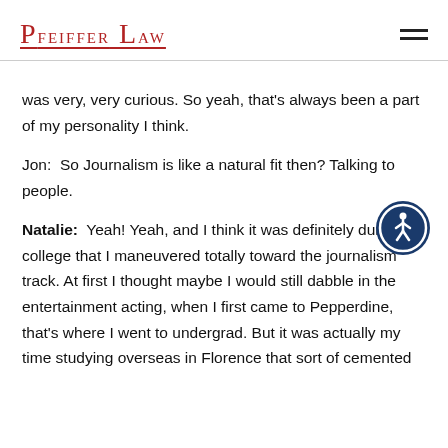Pfeiffer Law
was very, very curious. So yeah, that's always been a part of my personality I think.
Jon:  So Journalism is like a natural fit then? Talking to people.
[Figure (illustration): Accessibility icon — a circular dark blue button with a white person/wheelchair accessibility symbol in the center]
Natalie:  Yeah! Yeah, and I think it was definitely during college that I maneuvered totally toward the journalism track. At first I thought maybe I would still dabble in the entertainment acting, when I first came to Pepperdine, that's where I went to undergrad. But it was actually my time studying overseas in Florence that sort of cemented